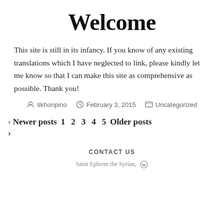Welcome
This site is still in its infancy. If you know of any existing translations which I have neglected to link, please kindly let me know so that I can make this site as comprehensive as possible. Thank you!
tikhonpino   February 3, 2015   Uncategorized
‹ Newer posts 1 2 3 4 5 Older posts ›
CONTACT US
Saint Ephrem the Syrian,